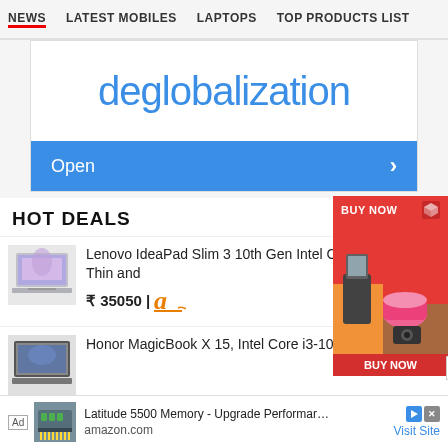NEWS | LATEST MOBILES | LAPTOPS | TOP PRODUCTS LIST
[Figure (screenshot): Banner showing the word 'deglobalization' in blue text with an Open button below]
HOT DEALS
View All
[Figure (photo): Lenovo IdeaPad Slim 3 laptop thumbnail]
Lenovo IdeaPad Slim 3 10th Gen Intel Core i3 15.6 HD Thin and
₹ 35050 | a (Amazon)
[Figure (photo): Honor MagicBook X 15 laptop thumbnail]
Honor MagicBook X 15, Intel Core i3-10110U / 15.6 inch
[Figure (advertisement): Side ad with BUY NOW button and kitchen appliances image]
Ad  Latitude 5500 Memory - Upgrade Performance  amazon.com  Visit Site